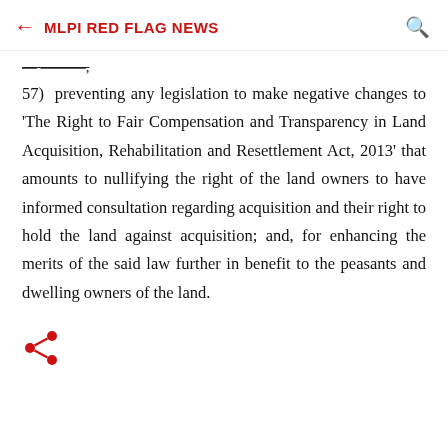MLPI RED FLAG NEWS
— ———,
57)  preventing any legislation to make negative changes to 'The Right to Fair Compensation and Transparency in Land Acquisition, Rehabilitation and Resettlement Act, 2013' that amounts to nullifying the right of the land owners to have informed consultation regarding acquisition and their right to hold the land against acquisition; and, for enhancing the merits of the said law further in benefit to the peasants and dwelling owners of the land.